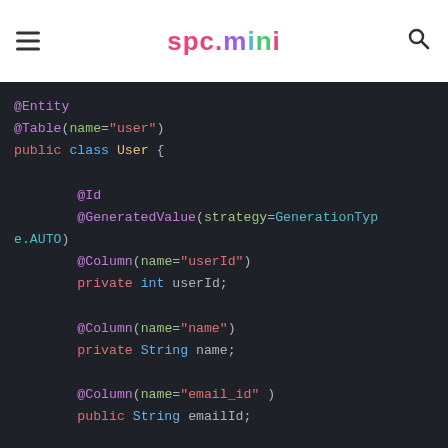spc.mini
[Figure (screenshot): Java code snippet showing a JPA Entity class 'User' with annotations @Entity, @Table(name='user'), @Id, @GeneratedValue, @Column annotations for fields userId (int), name (String), emailId (String), qualification (String).]